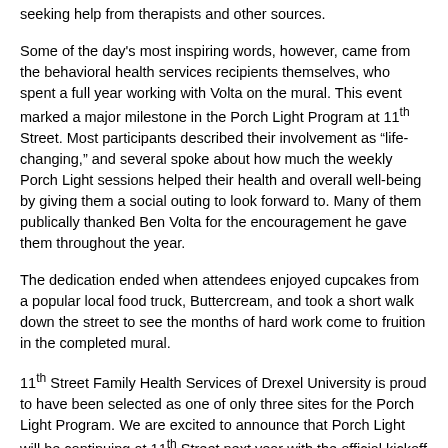seeking help from therapists and other sources.
Some of the day's most inspiring words, however, came from the behavioral health services recipients themselves, who spent a full year working with Volta on the mural. This event marked a major milestone in the Porch Light Program at 11th Street. Most participants described their involvement as “life-changing,” and several spoke about how much the weekly Porch Light sessions helped their health and overall well-being by giving them a social outing to look forward to. Many of them publically thanked Ben Volta for the encouragement he gave them throughout the year.
The dedication ended when attendees enjoyed cupcakes from a popular local food truck, Buttercream, and took a short walk down the street to see the months of hard work come to fruition in the completed mural.
11th Street Family Health Services of Drexel University is proud to have been selected as one of only three sites for the Porch Light Program. We are excited to announce that Porch Light will be continuing at 11th Street next year with the official kickoff of Year 2 in November.